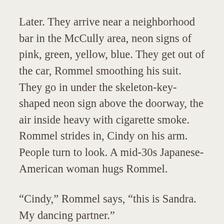Later. They arrive near a neighborhood bar in the McCully area, neon signs of pink, green, yellow, blue. They get out of the car, Rommel smoothing his suit. They go in under the skeleton-key-shaped neon sign above the doorway, the air inside heavy with cigarette smoke. Rommel strides in, Cindy on his arm. People turn to look. A mid-30s Japanese-American woman hugs Rommel.
“Cindy,” Rommel says, “this is Sandra. My dancing partner.”